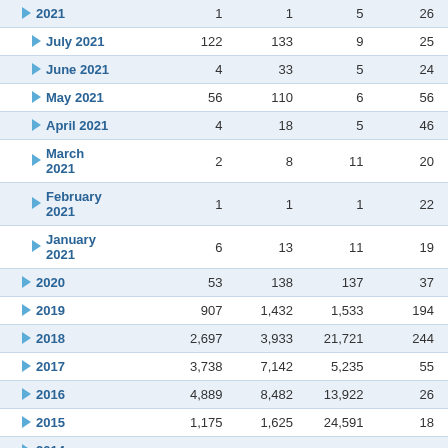| Period | Col1 | Col2 | Col3 | Col4 |
| --- | --- | --- | --- | --- |
| 2021 | 1 | 1 | 5 | 26 |
| July 2021 | 122 | 133 | 9 | 25 |
| June 2021 | 4 | 33 | 5 | 24 |
| May 2021 | 56 | 110 | 6 | 56 |
| April 2021 | 4 | 18 | 5 | 46 |
| March 2021 | 2 | 8 | 11 | 20 |
| February 2021 | 1 | 1 | 1 | 22 |
| January 2021 | 6 | 13 | 11 | 19 |
| 2020 | 53 | 138 | 137 | 37 |
| 2019 | 907 | 1,432 | 1,533 | 194 |
| 2018 | 2,697 | 3,933 | 21,721 | 244 |
| 2017 | 3,738 | 7,142 | 5,235 | 55 |
| 2016 | 4,889 | 8,482 | 13,922 | 26 |
| 2015 | 1,175 | 1,625 | 24,591 | 18 |
| 2014 | ... | ... | 1,5.. | .. |